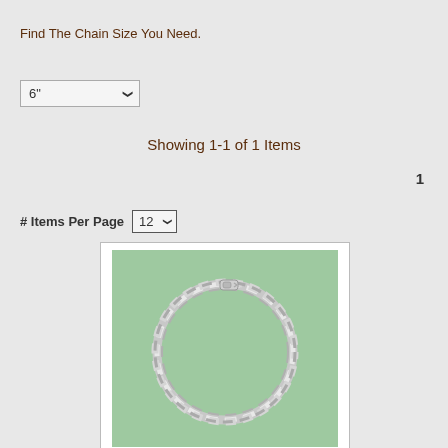Find The Chain Size You Need.
6"
Showing 1-1 of 1 Items
1
# Items Per Page  12
[Figure (photo): Silver curb chain bracelet displayed on a green background. The chain forms a circular loop with a lobster clasp visible at the top.]